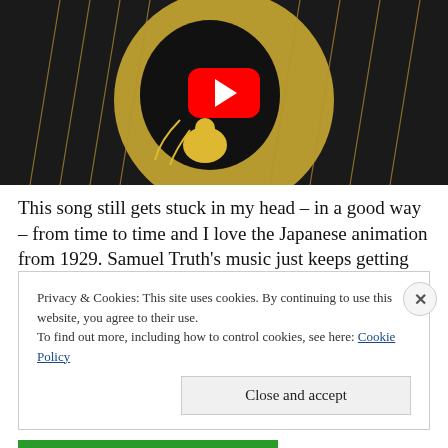[Figure (screenshot): YouTube video thumbnail showing Japanese animation from 1929 with a dark animal figure against a golden background, with a red YouTube play button overlay]
This song still gets stuck in my head – in a good way – from time to time and I love the Japanese animation from 1929. Samuel Truth's music just keeps getting better and better.  If you haven't already, be sure to check him and his music out of SoundCloud
Privacy & Cookies: This site uses cookies. By continuing to use this website, you agree to their use.
To find out more, including how to control cookies, see here: Cookie Policy
Close and accept